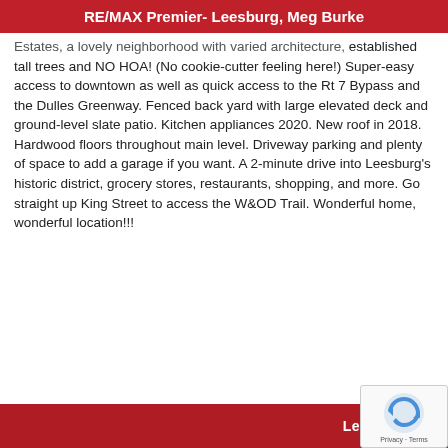RE/MAX Premier- Leesburg, Meg Burke
Estates, a lovely neighborhood with varied architecture, established tall trees and NO HOA! (No cookie-cutter feeling here!) Super-easy access to downtown as well as quick access to the Rt 7 Bypass and the Dulles Greenway. Fenced back yard with large elevated deck and ground-level slate patio. Kitchen appliances 2020. New roof in 2018. Hardwood floors throughout main level. Driveway parking and plenty of space to add a garage if you want. A 2-minute drive into Leesburg's historic district, grocery stores, restaurants, shopping, and more. Go straight up King Street to access the W&OD Trail. Wonderful home, wonderful location!!!
Learn more about this property